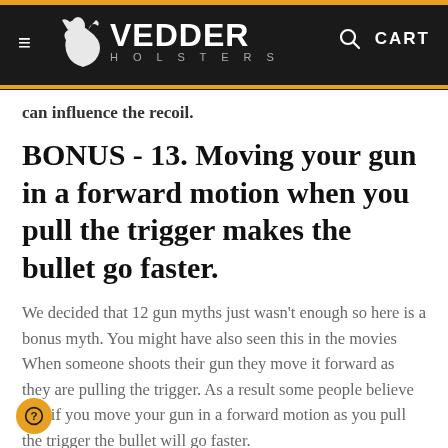Vedder Holsters — navigation header with logo, hamburger menu, search icon, and CART
can influence the recoil.
BONUS - 13. Moving your gun in a forward motion when you pull the trigger makes the bullet go faster.
We decided that 12 gun myths just wasn't enough so here is a bonus myth. You might have also seen this in the movies When someone shoots their gun they move it forward as they are pulling the trigger. As a result some people believe that if you move your gun in a forward motion as you pull the trigger the bullet will go faster.